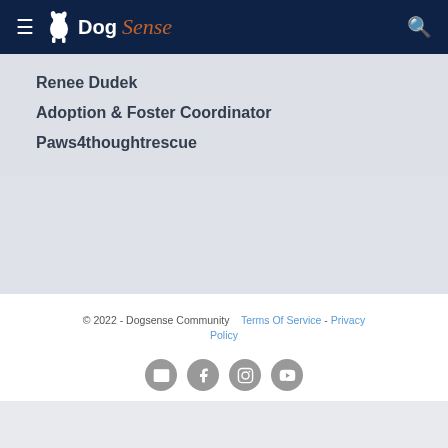DogSense
Renee Dudek
Adoption & Foster Coordinator
Paws4thoughtrescue
© 2022 - Dogsense Community  Terms Of Service - Privacy Policy